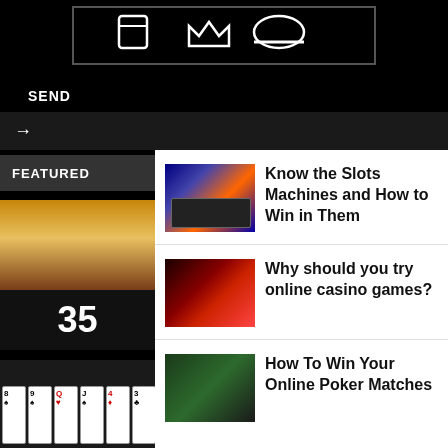[Figure (logo): Website logo with icons in a bordered box on black background]
SEND
[Figure (other): Navigation bar with right arrow on dark background]
FEATURED
[Figure (photo): Casino roulette table with number 35 shown]
Know the Slots Machines and How to Win in Them
Why should you try online casino games?
How To Win Your Online Poker Matches
[Figure (photo): Playing cards fanned out on dark background]